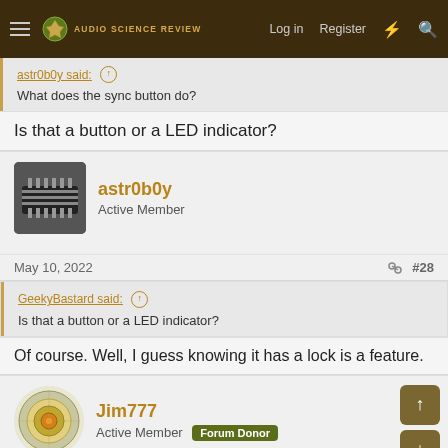Audio Science Review — Log in | Register
astr0b0y said: ↑
What does the sync button do?
Is that a button or a LED indicator?
astr0b0y
Active Member
May 10, 2022  #28
GeekyBastard said: ↑
Is that a button or a LED indicator?
Of course. Well, I guess knowing it has a lock is a feature.
Jim777
Active Member  Forum Donor